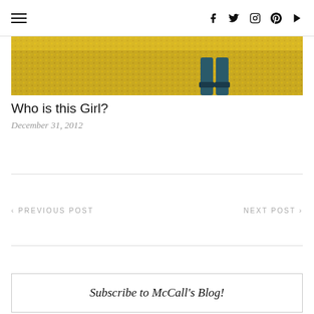☰  f  𝕏  ⊙  ⊕  ▶
[Figure (photo): Cropped photo showing boots standing in a yellow flower field/vineyard, shot from above]
Who is this Girl?
December 31, 2012
< PREVIOUS POST
NEXT POST >
Subscribe to McCall's Blog!